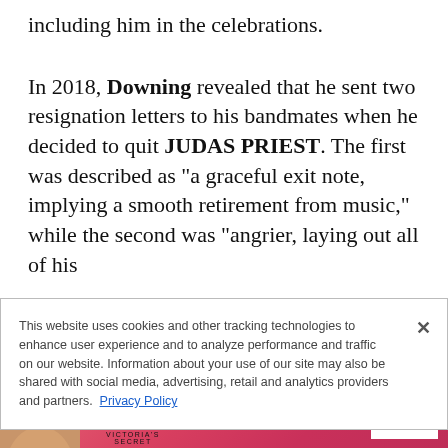including him in the celebrations.
In 2018, Downing revealed that he sent two resignation letters to his bandmates when he decided to quit JUDAS PRIEST. The first was described as "a graceful exit note, implying a smooth retirement from music," while the second was "angrier, laying out all of his
This website uses cookies and other tracking technologies to enhance user experience and to analyze performance and traffic on our website. Information about your use of our site may also be shared with social media, advertising, retail and analytics providers and partners. Privacy Policy
[Figure (photo): Victoria's Secret advertisement banner with a woman model, VS logo, 'SHOP THE COLLECTION' text and 'SHOP NOW' button on a pink/red background]